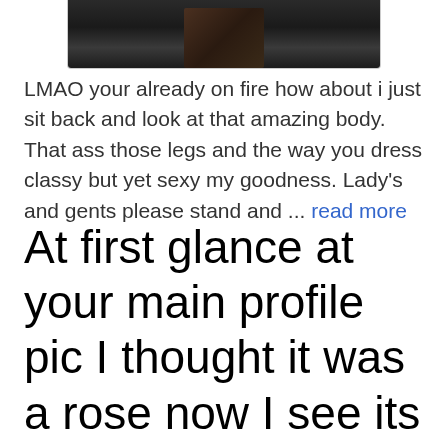[Figure (photo): Partial photo of a person visible at the top of the page, cropped]
LMAO your already on fire how about i just sit back and look at that amazing body. That ass those legs and the way you dress classy but yet sexy my goodness. Lady's and gents please stand and ... read more
At first glance at your main profile pic I thought it was a rose now I see its a toy gr8 pic either way.